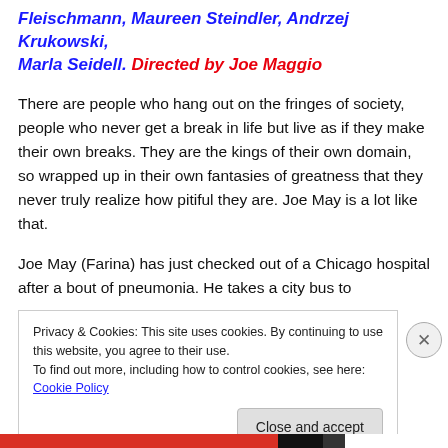Fleischmann, Maureen Steindler, Andrzej Krukowski, Marla Seidell. Directed by Joe Maggio
There are people who hang out on the fringes of society, people who never get a break in life but live as if they make their own breaks. They are the kings of their own domain, so wrapped up in their own fantasies of greatness that they never truly realize how pitiful they are. Joe May is a lot like that.
Joe May (Farina) has just checked out of a Chicago hospital after a bout of pneumonia. He takes a city bus to
Privacy & Cookies: This site uses cookies. By continuing to use this website, you agree to their use.
To find out more, including how to control cookies, see here: Cookie Policy